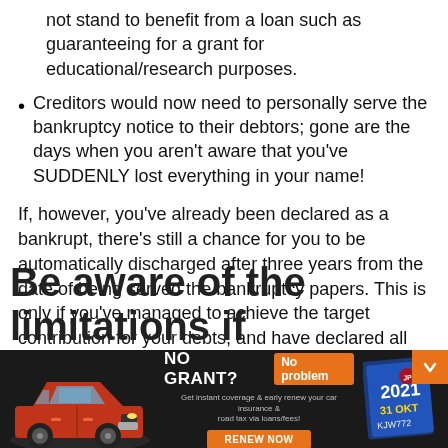not stand to benefit from a loan such as guaranteeing for a grant for educational/research purposes.
Creditors would now need to personally serve the bankruptcy notice to their debtors; gone are the days when you aren't aware that you've SUDDENLY lost everything in your name!
If, however, you've already been declared as a bankrupt, there's still a chance for you to be automatically discharged after three years from the date of being served the bankruptcy papers. This is only if you've managed to achieve the target contribution for your debts, and have declared all your liabilities to the Malaysia Department of Insolvency (MdI).
Be aware of the limitations if
[Figure (infographic): Advertisement banner with dark background showing a red car on the left, text 'NO GRANT? No problem' with orange accent button, subtitle text about car insurance and road tax renewal via loans, a 'RENEW NOW' button, and a Malaysian road tax sticker image (2021, 31 OKT) on the right. An orange chevron/arrow button appears at top right.]